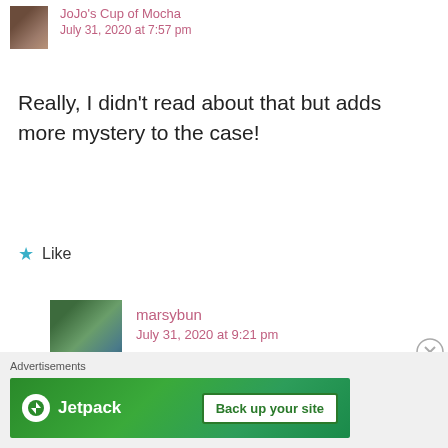JoJo's Cup of Mocha
July 31, 2020 at 7:57 pm
Really, I didn't read about that but adds more mystery to the case!
Like
marsybun
July 31, 2020 at 9:21 pm
Advertisements
[Figure (screenshot): Jetpack advertisement banner with green background, Jetpack logo on left and 'Back up your site' button on right]